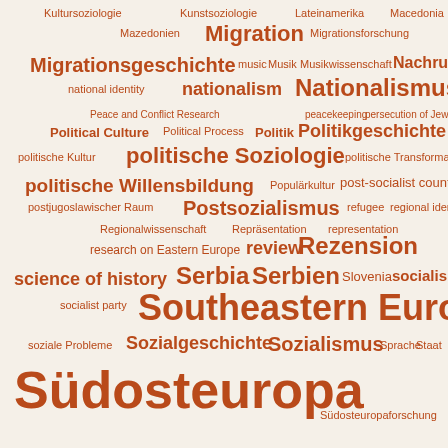[Figure (infographic): Word cloud with German and English academic/social science terms in various font sizes, all in dark orange/brick color on cream background. Largest words: Südosteuropa, Southeastern Europe, Serbia Serbien, Nationalismus, politische Soziologie, Rezension. Smaller words include: Kultursoziologie, Kunstsoziologie, Lateinamerika, Macedonia, Mazedonien, Migration, Migrationsforschung, Migrationsgeschichte, music, Musik, Musikwissenschaft, Nachruf, national identity, nationalism, Nationalismus, Peace and Conflict Research, peacekeeping, persecution of Jews, Political Culture, Political Process, Politik, Politikgeschichte, politische Kultur, politische Soziologie, politische Transformation, politische Willensbildung, Populärkultur, post-socialist country, postjugoslawischer Raum, Postsozialismus, refugee, regional identity, Regionalwissenschaft, Repräsentation, representation, research on Eastern Europe, review, Rezension, science of history, Serbia, Serbien, Slovenia, socialism, socialist party, Southeastern Europe, soziale Probleme, Sozialgeschichte, Sozialismus, Sprache, Staat, Südosteuropa, Südosteuropaforschung]